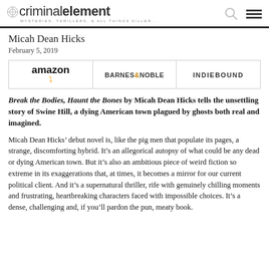criminalelement — MYSTERIES, THRILLERS, & ALL THINGS KILLER...
Micah Dean Hicks
February 5, 2019
| amazon | BARNES & NOBLE | INDIEBOUND |
| --- | --- | --- |
Break the Bodies, Haunt the Bones by Micah Dean Hicks tells the unsettling story of Swine Hill, a dying American town plagued by ghosts both real and imagined.
Micah Dean Hicks’ debut novel is, like the pig men that populate its pages, a strange, discomforting hybrid. It’s an allegorical autopsy of what could be any dead or dying American town. But it’s also an ambitious piece of weird fiction so extreme in its exaggerations that, at times, it becomes a mirror for our current political client. And it’s a supernatural thriller, rife with genuinely chilling moments and frustrating, heartbreaking characters faced with impossible choices. It’s a dense, challenging and, if you’ll pardon the pun, meaty book.